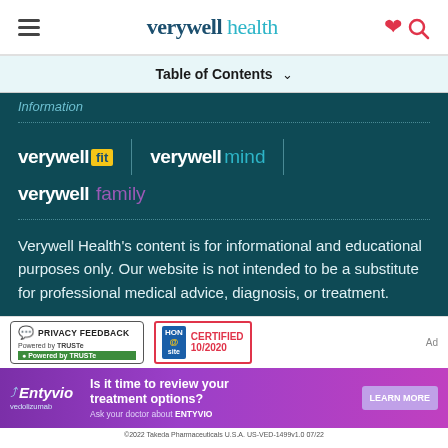verywell health
Table of Contents ∨
Information
[Figure (logo): Verywell Fit logo with yellow badge and Verywell Mind logo in teal, on dark teal background]
[Figure (logo): Verywell Family logo in purple on dark teal background]
Verywell Health's content is for informational and educational purposes only. Our website is not intended to be a substitute for professional medical advice, diagnosis, or treatment.
[Figure (logo): Privacy Feedback badge powered by TRUSTe]
[Figure (logo): HON Certified 10/2020 badge]
[Figure (infographic): Entyvio vedolizumab advertisement banner: Is it time to review your treatment options? Ask your doctor about ENTYVIO. LEARN MORE button. ©2022 Takeda Pharmaceuticals U.S.A. US-VED-1499v1.0 07/22]